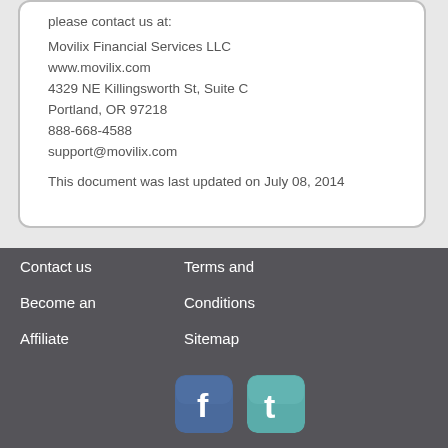please contact us at:

Movilix Financial Services LLC
www.movilix.com
4329 NE Killingsworth St, Suite C
Portland, OR 97218
888-668-4588
support@movilix.com

This document was last updated on July 08, 2014
Contact us
Become an Affiliate
Terms and Conditions
Sitemap
[Figure (illustration): Facebook icon (blue rounded square with white f logo) and Twitter icon (teal rounded square with white t logo)]